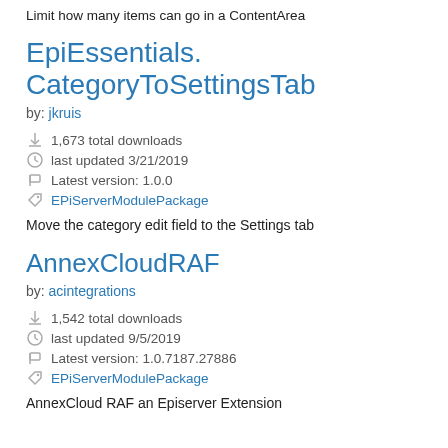Limit how many items can go in a ContentArea
EpiEssentials.CategoryToSettingsTab
by: jkruis
1,673 total downloads
last updated 3/21/2019
Latest version: 1.0.0
EPiServerModulePackage
Move the category edit field to the Settings tab
AnnexCloudRAF
by: acintegrations
1,542 total downloads
last updated 9/5/2019
Latest version: 1.0.7187.27886
EPiServerModulePackage
AnnexCloud RAF an Episerver Extension